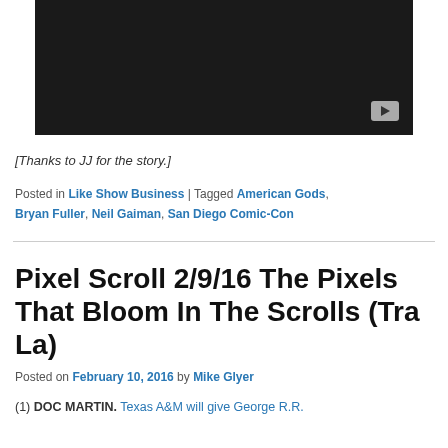[Figure (screenshot): Embedded YouTube video player thumbnail with dark/black background and YouTube play button in the bottom-right corner]
[Thanks to JJ for the story.]
Posted in Like Show Business | Tagged American Gods, Bryan Fuller, Neil Gaiman, San Diego Comic-Con
Pixel Scroll 2/9/16 The Pixels That Bloom In The Scrolls (Tra La)
Posted on February 10, 2016 by Mike Glyer
(1) DOC MARTIN. Texas A&M will give George R.R.